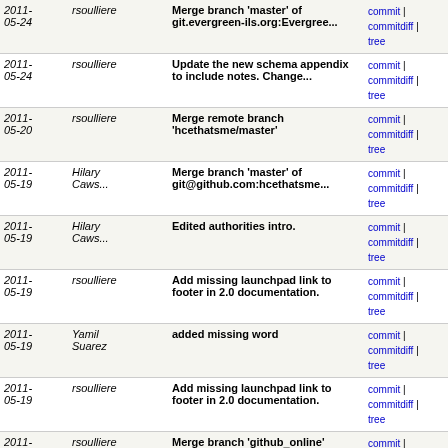| Date | Author | Message | Links |
| --- | --- | --- | --- |
| 2011-05-24 | rsoulliere | Merge branch 'master' of git.evergreen-ils.org:Evergree... | commit | commitdiff | tree |
| 2011-05-24 | rsoulliere | Update the new schema appendix to include notes. Change... | commit | commitdiff | tree |
| 2011-05-20 | rsoulliere | Merge remote branch 'hcethatsme/master' | commit | commitdiff | tree |
| 2011-05-19 | Hilary Caws... | Merge branch 'master' of git@github.com:hcethatsme... | commit | commitdiff | tree |
| 2011-05-19 | Hilary Caws... | Edited authorities intro. | commit | commitdiff | tree |
| 2011-05-19 | rsoulliere | Add missing launchpad link to footer in 2.0 documentation. | commit | commitdiff | tree |
| 2011-05-19 | Yamil Suarez | added missing word | commit | commitdiff | tree |
| 2011-05-19 | rsoulliere | Add missing launchpad link to footer in 2.0 documentation. | commit | commitdiff | tree |
| 2011-05-19 | rsoulliere | Merge branch 'github_online' | commit | commitdiff | tree |
| 2011-05-19 | rsoulliere | Merge remote branch 'ysuarez/master' | commit | commitdiff | tree |
| 2011-05-19 | rsoulliere | Merge remote branch 'ysuarez/master' into github_online | commit | commitdiff | tree |
| 2011-05-19 | Yamil Suarez | added missing word | commit | commitdiff | tree |
| 2011-05-18 | Hilary Caws... | added a note stub about limitations | commit | commitdiff | tree |
| 2011- | Hilary | Added intro from wiki on authorities | commit | commitdiff |